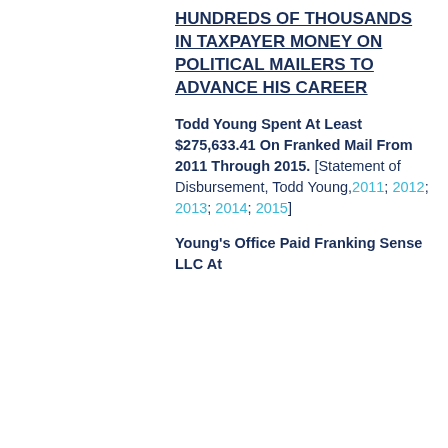HUNDREDS OF THOUSANDS IN TAXPAYER MONEY ON POLITICAL MAILERS TO ADVANCE HIS CAREER
Todd Young Spent At Least $275,633.41 On Franked Mail From 2011 Through 2015. [Statement of Disbursement, Todd Young, 2011; 2012; 2013; 2014; 2015]
Young's Office Paid Franking Sense LLC At